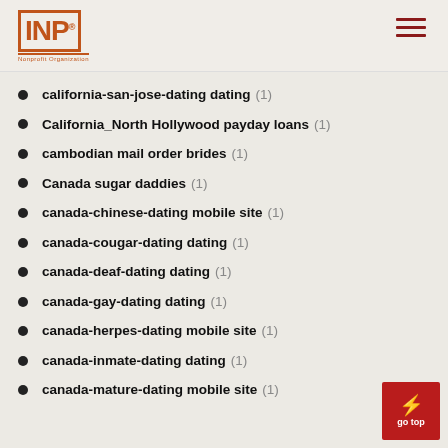INP logo with hamburger menu
california-san-jose-dating dating (1)
California_North Hollywood payday loans (1)
cambodian mail order brides (1)
Canada sugar daddies (1)
canada-chinese-dating mobile site (1)
canada-cougar-dating dating (1)
canada-deaf-dating dating (1)
canada-gay-dating dating (1)
canada-herpes-dating mobile site (1)
canada-inmate-dating dating (1)
canada-mature-dating mobile site (1)